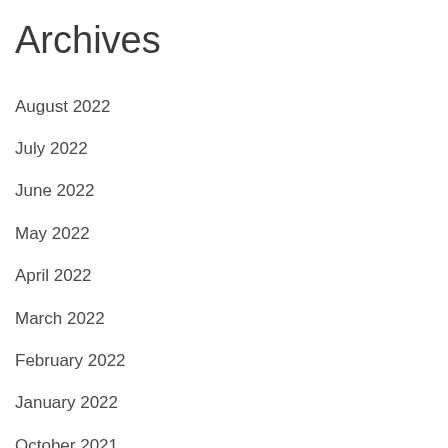Archives
August 2022
July 2022
June 2022
May 2022
April 2022
March 2022
February 2022
January 2022
October 2021
August 2021